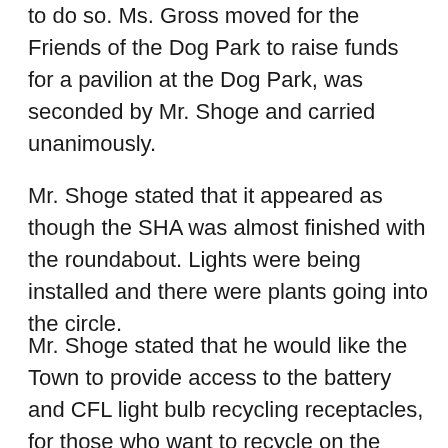to do so. Ms. Gross moved for the Friends of the Dog Park to raise funds for a pavilion at the Dog Park, was seconded by Mr. Shoge and carried unanimously.
Mr. Shoge stated that it appeared as though the SHA was almost finished with the roundabout. Lights were being installed and there were plants going into the circle.
Mr. Shoge stated that he would like the Town to provide access to the battery and CFL light bulb recycling receptacles, for those who want to recycle on the weekends. Ms. Kuiper suggested moving the receptacles to the Visitors Center rather than an outside venue. Mr. Ingersoll said that they should also have some additional